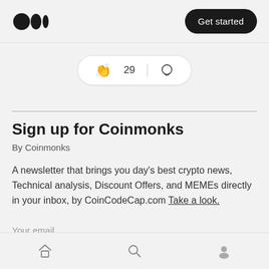Medium logo | Get started
[Figure (infographic): Clap icon with count 29 and speech bubble icon in a pill-shaped bar]
Sign up for Coinmonks
By Coinmonks
A newsletter that brings you day's best crypto news, Technical analysis, Discount Offers, and MEMEs directly in your inbox, by CoinCodeCap.com Take a look.
Your email
Home | Search | Profile